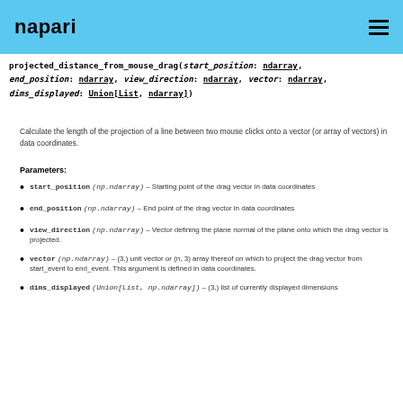napari
projected_distance_from_mouse_drag(start_position: ndarray, end_position: ndarray, view_direction: ndarray, vector: ndarray, dims_displayed: Union[List, ndarray])
Calculate the length of the projection of a line between two mouse clicks onto a vector (or array of vectors) in data coordinates.
Parameters:
start_position (np.ndarray) – Starting point of the drag vector in data coordinates
end_position (np.ndarray) – End point of the drag vector in data coordinates
view_direction (np.ndarray) – Vector defining the plane normal of the plane onto which the drag vector is projected.
vector (np.ndarray) – (3,) unit vector or (n, 3) array thereof on which to project the drag vector from start_event to end_event. This argument is defined in data coordinates.
dims_displayed (Union[List, np.ndarray]) – (3,) list of currently displayed dimensions